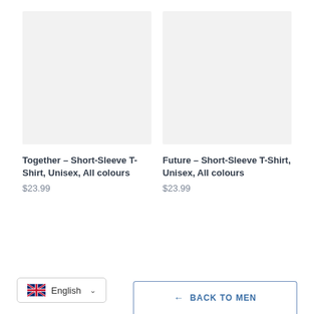[Figure (photo): Product image placeholder — light grey rectangle for 'Together – Short-Sleeve T-Shirt, Unisex, All colours']
Together – Short-Sleeve T-Shirt, Unisex, All colours
$23.99
[Figure (photo): Product image placeholder — light grey rectangle for 'Future – Short-Sleeve T-Shirt, Unisex, All colours']
Future – Short-Sleeve T-Shirt, Unisex, All colours
$23.99
English
← BACK TO MEN